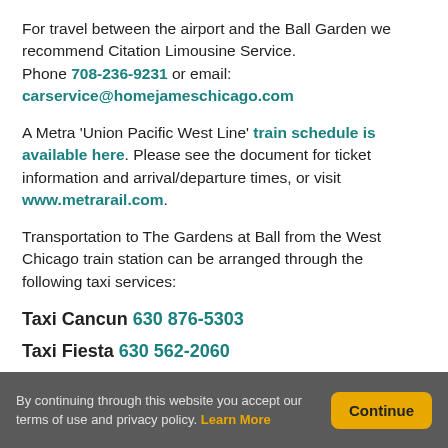For travel between the airport and the Ball Garden we recommend Citation Limousine Service. Phone 708-236-9231 or email: carservice@homejameschicago.com
A Metra 'Union Pacific West Line' train schedule is available here. Please see the document for ticket information and arrival/departure times, or visit www.metrarail.com.
Transportation to The Gardens at Ball from the West Chicago train station can be arranged through the following taxi services:
Taxi Cancun 630 876-5303
Taxi Fiesta 630 562-2060
By continuing through this website you accept our terms of use and privacy policy. Learn More  Continue